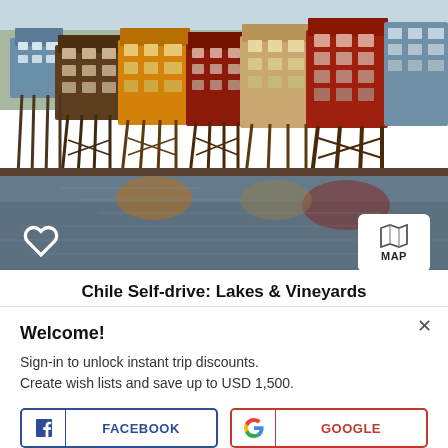[Figure (photo): Colorful stilt houses (palafitos) reflecting in calm water in Chile, with wooden pilings supporting multi-story buildings painted in red, yellow, blue, and other colors]
Chile Self-drive: Lakes & Vineyards
Welcome!
Sign-in to unlock instant trip discounts.
Create wish lists and save up to USD 1,500.
FACEBOOK
GOOGLE
More login options here.